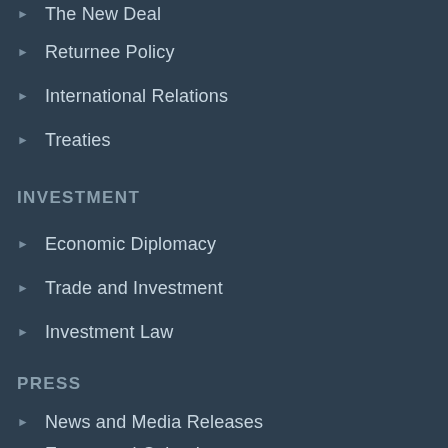The New Deal
Returnee Policy
International Relations
Treaties
INVESTMENT
Economic Diplomacy
Trade and Investment
Investment Law
PRESS
News and Media Releases
Events and Calendar